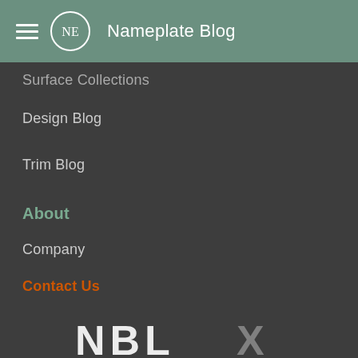NE Nameplate Blog
Surface Collections
Design Blog
Trim Blog
About
Company
Contact Us
Jobs
Products
Markets
Materials & Processes
[Figure (logo): NBLY or similar company logo letters partially visible at bottom of page]